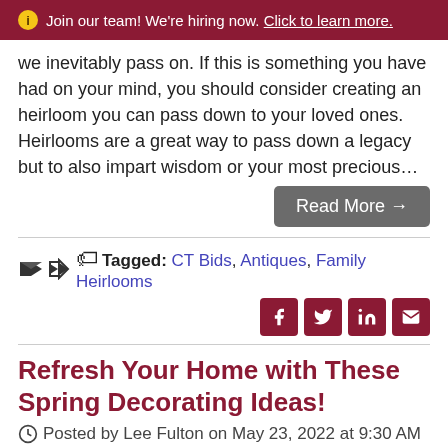ℹ Join our team! We're hiring now. Click to learn more.
we inevitably pass on. If this is something you have had on your mind, you should consider creating an heirloom you can pass down to your loved ones. Heirlooms are a great way to pass down a legacy but to also impart wisdom or your most precious…
Read More →
Tagged: CT Bids, Antiques, Family Heirlooms
Refresh Your Home with These Spring Decorating Ideas!
Posted by Lee Fulton on May 23, 2022 at 9:30 AM
Bees are buzzing, the trees are colorful, and the air is sweet with the scent of blooming flowers. Which can only mean one thing—Spring is here! Are you